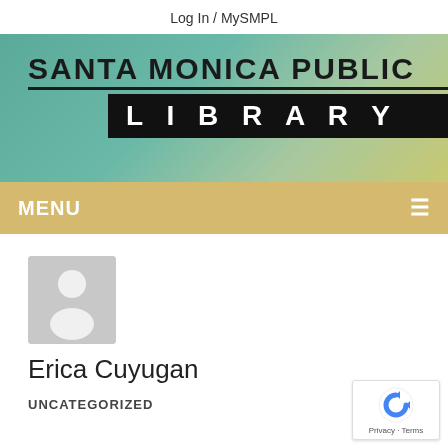Log In / MySMPL
[Figure (logo): Santa Monica Public Library logo on teal/green gradient background, with 'SANTA MONICA PUBLIC' in bold dark text with underline, and 'LIBRARY' in white letters on black bar]
MENU
[Figure (illustration): Generic user avatar placeholder: gray square with white circle head and body silhouette]
Erica Cuyugan
UNCATEGORIZED